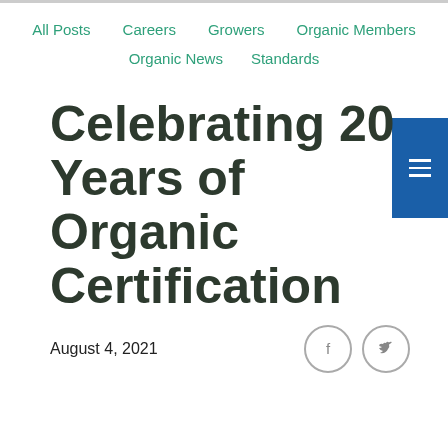All Posts | Careers | Growers | Organic Members | Organic News | Standards
Celebrating 20 Years of Organic Certification
August 4, 2021
[Figure (logo): Pacific Agricultural organic certification logo, circular badge with mountains, EST. 2001, blue and green, partially visible]